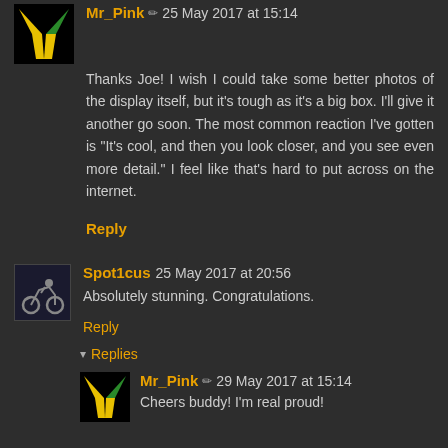Mr_Pink ✏ 25 May 2017 at 15:14
Thanks Joe! I wish I could take some better photos of the display itself, but it's tough as it's a big box. I'll give it another go soon. The most common reaction I've gotten is "It's cool, and then you look closer, and you see even more detail." I feel like that's hard to put across on the internet.
Reply
Spot1cus 25 May 2017 at 20:56
Absolutely stunning. Congratulations.
Reply
▾ Replies
Mr_Pink ✏ 29 May 2017 at 15:14
Cheers buddy! I'm real proud!